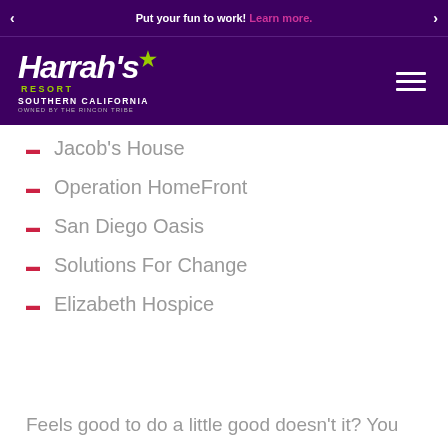Put your fun to work! Learn more.
[Figure (logo): Harrah's Resort Southern California logo, white text on dark purple background, with green star and green RESORT text]
Jacob's House
Operation HomeFront
San Diego Oasis
Solutions For Change
Elizabeth Hospice
Feels good to do a little good doesn't it? You